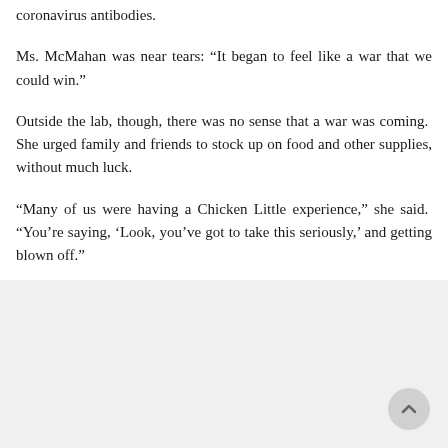coronavirus antibodies.
Ms. McMahan was near tears: “It began to feel like a war that we could win.”
Outside the lab, though, there was no sense that a war was coming. She urged family and friends to stock up on food and other supplies, without much luck.
“Many of us were having a Chicken Little experience,” she said. “You’re saying, ‘Look, you’ve got to take this seriously,’ and getting blown off.”
[Figure (photo): A faded/light photograph or image occupying the lower portion of the page, partially visible. A circular scroll-to-top button is visible in the bottom-right corner.]